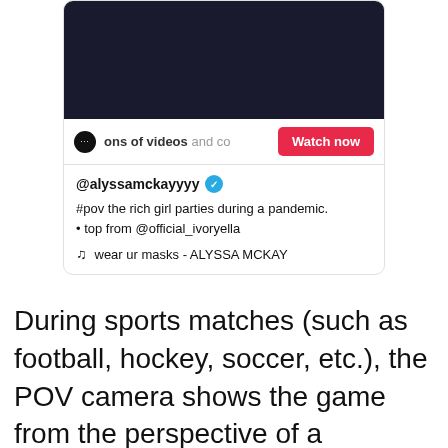[Figure (screenshot): TikTok app screenshot showing a dark video thumbnail, a 'Watch now' button, the username @alyssamckayyyy with a verified badge, caption '#pov the rich girl parties during a pandemic. • top from @official_ivoryella', and music 'wear ur masks - ALYSSA MCKAY']
During sports matches (such as football, hockey, soccer, etc.), the POV camera shows the game from the perspective of a particular player. In Formula 1 motor racing, viewers can see the race from a driver's dashboard camera.